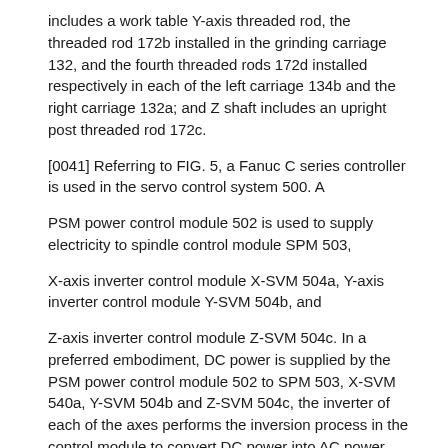includes a work table Y-axis threaded rod, the threaded rod 172b installed in the grinding carriage 132, and the fourth threaded rods 172d installed respectively in each of the left carriage 134b and the right carriage 132a; and Z shaft includes an upright post threaded rod 172c.
[0041] Referring to FIG. 5, a Fanuc C series controller is used in the servo control system 500. A
PSM power control module 502 is used to supply electricity to spindle control module SPM 503,
X-axis inverter control module X-SVM 504a, Y-axis inverter control module Y-SVM 504b, and
Z-axis inverter control module Z-SVM 504c. In a preferred embodiment, DC power is supplied by the PSM power control module 502 to SPM 503, X-SVM 540a, Y-SVM 504b and Z-SVM 504c, the inverter of each of the axes performs the inversion process in the control module to convert DC power into AC power and supply electricity to the synchronal motor, such that the speed of the motors can be controlled through adjustment of the frequency of the inverters. Wherein PSM 502 is a power control module,